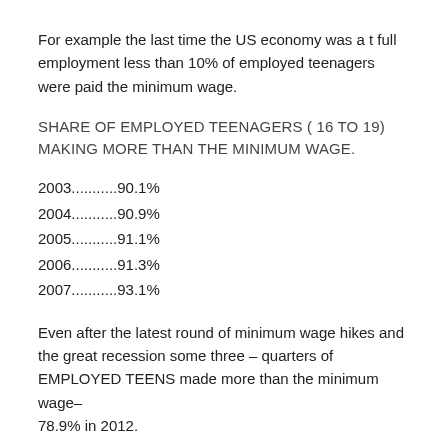For example the last time the US economy was a t full employment less than 10% of employed teenagers were paid the minimum wage.
SHARE OF EMPLOYED TEENAGERS ( 16 TO 19) MAKING MORE THAN THE MINIMUM WAGE.
2003...........90.1%
2004...........90.9%
2005...........91.1%
2006...........91.3%
2007...........93.1%
Even after the latest round of minimum wage hikes and the great recession some three – quarters of EMPLOYED TEENS made more than the minimum wage– 78.9% in 2012.